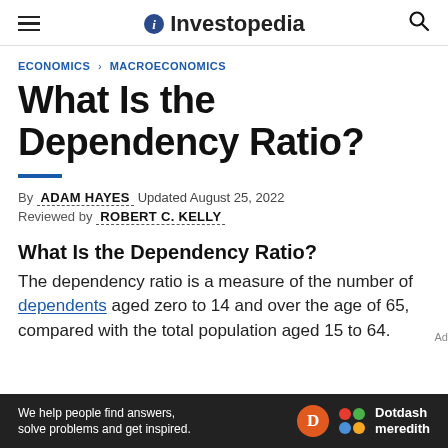Investopedia
ECONOMICS > MACROECONOMICS
What Is the Dependency Ratio?
By ADAM HAYES Updated August 25, 2022
Reviewed by ROBERT C. KELLY
What Is the Dependency Ratio?
The dependency ratio is a measure of the number of dependents aged zero to 14 and over the age of 65, compared with the total population aged 15 to 64.
[Figure (other): Dotdash Meredith advertisement banner: 'We help people find answers, solve problems and get inspired.']